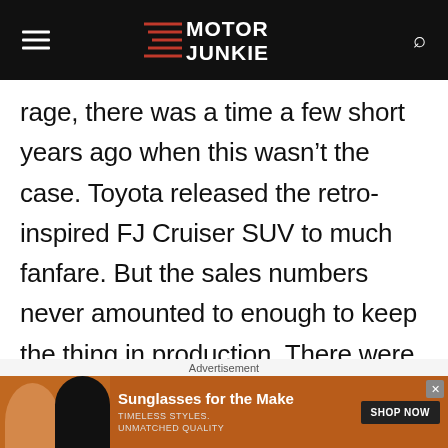Motor Junkie
rage, there was a time a few short years ago when this wasn't the case. Toyota released the retro-inspired FJ Cruiser SUV to much fanfare. But the sales numbers never amounted to enough to keep the thing in production. There were many shortcomings to the FJ Cruiser, such as the fact that the roof wasn't removable (via The
Advertisement
[Figure (other): Advertisement banner showing two women wearing sunglasses with text 'Sunglasses for the Make' and buttons 'SHOP NOW']